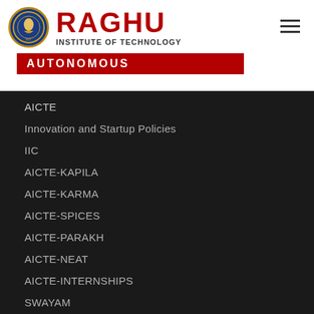[Figure (logo): Raghu Institute of Technology logo with circular emblem, red RAGHU text, INSTITUTE OF TECHNOLOGY subtitle, and red AUTONOMOUS banner]
AICTE
Innovation and Startup Policies
IIC
AICTE-KAPILA
AICTE-KARMA
AICTE-SPICES
AICTE-PARAKH
AICTE-NEAT
AICTE-INTERNSHIPS
SWAYAM